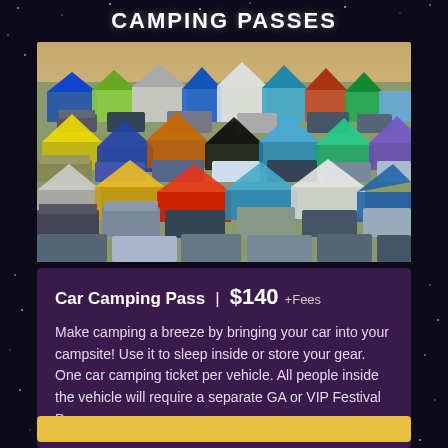CAMPING PASSES
[Figure (photo): Aerial view of a crowded festival car camping area filled with colorful tents, canopies, cars, and trucks packed closely together on flat ground.]
Car Camping Pass | $140 +Fees
Make camping a breeze by bringing your car into your campsite! Use it to sleep inside or store your gear. One car camping ticket per vehicle. All people inside the vehicle will require a separate GA or VIP Festival Pass.